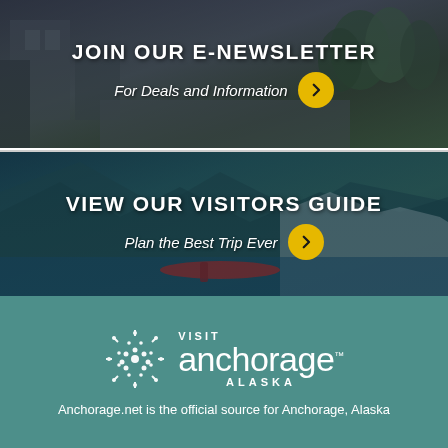[Figure (photo): Banner with urban/building background showing JOIN OUR E-NEWSLETTER heading and 'For Deals and Information' subtext with yellow arrow button]
[Figure (photo): Banner with glacier/kayaking background showing VIEW OUR VISITORS GUIDE heading and 'Plan the Best Trip Ever' subtext with yellow arrow button]
[Figure (logo): Visit Anchorage Alaska logo in white on teal background]
Anchorage.net is the official source for Anchorage, Alaska